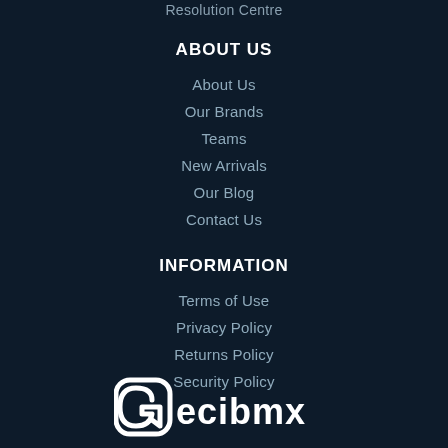Resolution Centre
ABOUT US
About Us
Our Brands
Teams
New Arrivals
Our Blog
Contact Us
INFORMATION
Terms of Use
Privacy Policy
Returns Policy
Security Policy
[Figure (logo): Gecibmx brand logo in white on dark background]